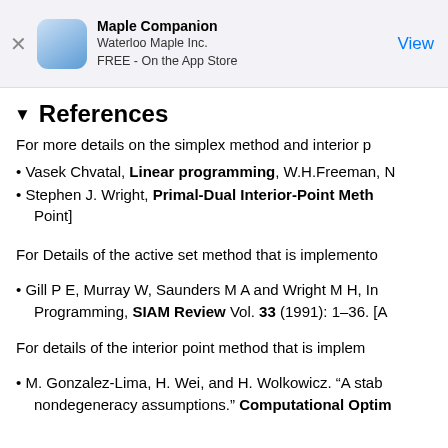Maple Companion
Waterloo Maple Inc.
FREE - On the App Store
▼ References
For more details on the simplex method and interior p
Vasek Chvatal, Linear programming, W.H.Freeman, N
Stephen J. Wright, Primal-Dual Interior-Point Meth... Point]
For Details of the active set method that is implemento
Gill P E, Murray W, Saunders M A and Wright M H, In Programming, SIAM Review Vol. 33 (1991): 1–36. [A
For details of the interior point method that is implem
M. Gonzalez-Lima, H. Wei, and H. Wolkowicz. "A stab nondegeneracy assumptions." Computational Optim